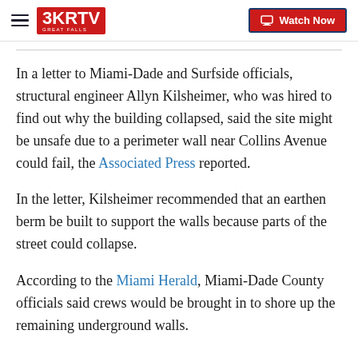3KRTV GREAT FALLS | Watch Now
In a letter to Miami-Dade and Surfside officials, structural engineer Allyn Kilsheimer, who was hired to find out why the building collapsed, said the site might be unsafe due to a perimeter wall near Collins Avenue could fail, the Associated Press reported.
In the letter, Kilsheimer recommended that an earthen berm be built to support the walls because parts of the street could collapse.
According to the Miami Herald, Miami-Dade County officials said crews would be brought in to shore up the remaining underground walls.